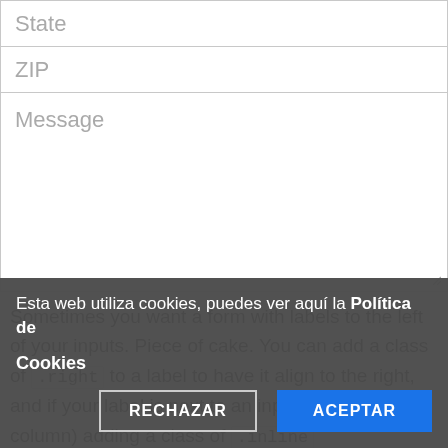[Figure (screenshot): Web form with State and ZIP text input fields and a large Message textarea with resize handle]
Sometimes you want a form with labels to the left of your inputs. Piece of cake. You can add a class of .right to a label to have it align to the right, and if your label is next to an input (in another column) adding a class of .inline
Esta web utiliza cookies, puedes ver aquí la Política de Cookies
RECHAZAR
ACEPTAR